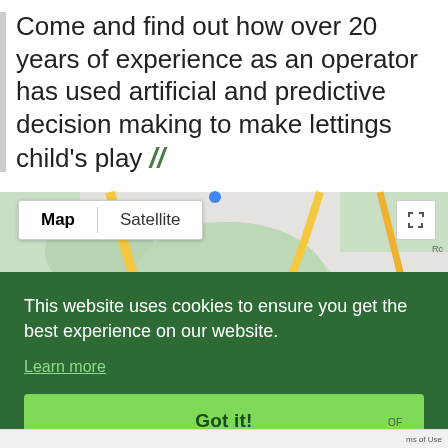Come and find out how over 20 years of experience as an operator has used artificial and predictive decision making to make lettings child's play "
[Figure (map): Google Maps view showing Hampstead Heath, Archway, Finsbury Park area in London. Map/Satellite toggle buttons visible. Green location pin marker visible. Fullscreen and zoom controls on right side.]
This website uses cookies to ensure you get the best experience on our website.
Learn more
Got it!